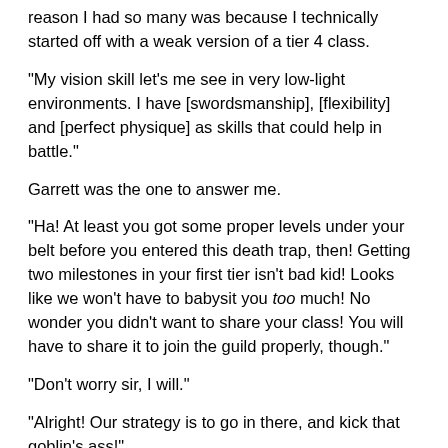reason I had so many was because I technically started off with a weak version of a tier 4 class.
"My vision skill let's me see in very low-light environments. I have [swordsmanship], [flexibility] and [perfect physique] as skills that could help in battle."
Garrett was the one to answer me.
"Ha! At least you got some proper levels under your belt before you entered this death trap, then! Getting two milestones in your first tier isn't bad kid! Looks like we won't have to babysit you too much! No wonder you didn't want to share your class! You will have to share it to join the guild properly, though."
"Don't worry sir, I will."
"Alright! Our strategy is to go in there, and kick that goblin's ass!"
Melinda chided Garrett.
"No you idiot! When we enter the boss room, Arthur